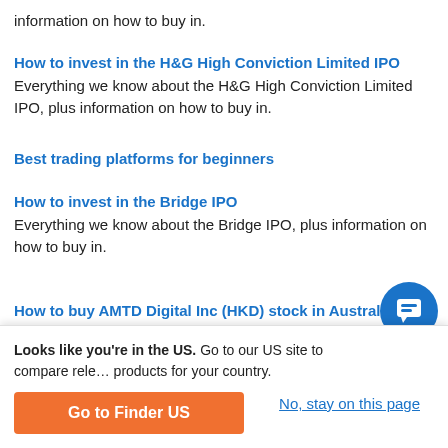information on how to buy in.
How to invest in the H&G High Conviction Limited IPO
Everything we know about the H&G High Conviction Limited IPO, plus information on how to buy in.
Best trading platforms for beginners
How to invest in the Bridge IPO
Everything we know about the Bridge IPO, plus information on how to buy in.
How to buy AMTD Digital Inc (HKD) stock in Australia
Looks like you're in the US. Go to our US site to compare rele… products for your country.
Go to Finder US
No, stay on this page